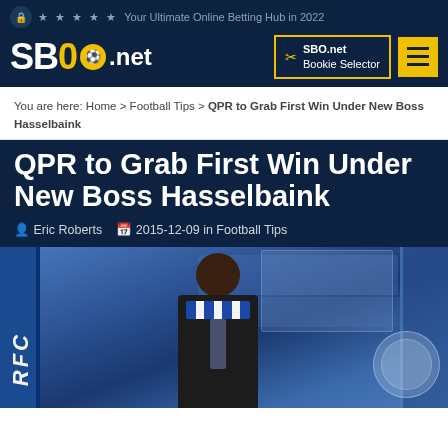Your Ultimate Online Betting Hub in 2022
SBO.net | SBO.net Bookie Selector
You are here: Home > Football Tips > QPR to Grab First Win Under New Boss Hasselbaink
QPR to Grab First Win Under New Boss Hasselbaink
Eric Roberts  2015-12-09 in Football Tips
[Figure (photo): Man in suit wearing a blue and white QPR scarf standing in front of stadium seating area with QPR crest visible]